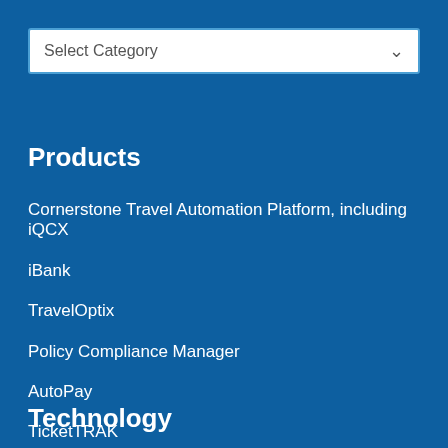[Figure (screenshot): Dropdown selector with label 'Select Category' and a chevron arrow on the right side]
Products
Cornerstone Travel Automation Platform, including iQCX
iBank
TravelOptix
Policy Compliance Manager
AutoPay
TicketTRAK
Technology